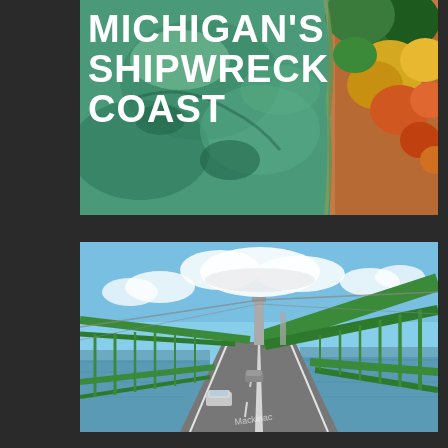[Figure (photo): Aerial view of Michigan coastline with green shallow water, sandy bottom, and autumn-colored trees along the shore. The image has overlaid bold white text reading MICHIGAN'S SHIPWRECK COAST.]
MICHIGAN'S SHIPWRECK COAST
[Figure (photo): Street-level view from a car on the Mackinac Bridge, showing the green suspension bridge cables overhead, two lanes of traffic, and open water (Straits of Mackinac) on both sides under a partly cloudy sky. A watermark reads 'Mackinac' in the lower center.]